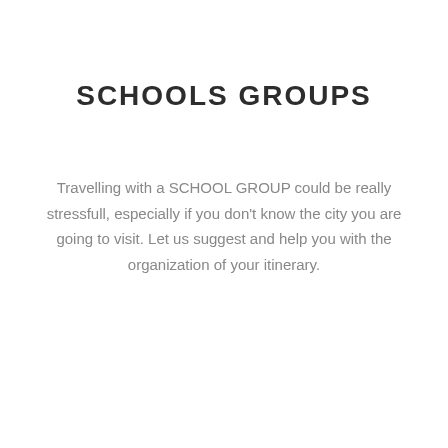SCHOOLS GROUPS
Travelling with a SCHOOL GROUP could be really stressfull, especially if you don't know the city you are going to visit. Let us suggest and help you with the organization of your itinerary.